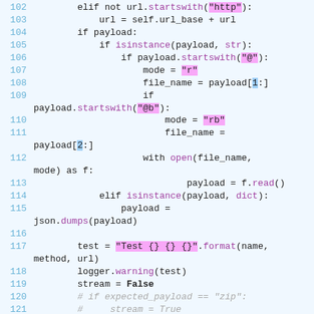[Figure (screenshot): Python source code snippet, lines 102-121, showing URL handling, payload processing, file reading, JSON serialization, and HTTP request logic with syntax highlighting on a light blue background.]